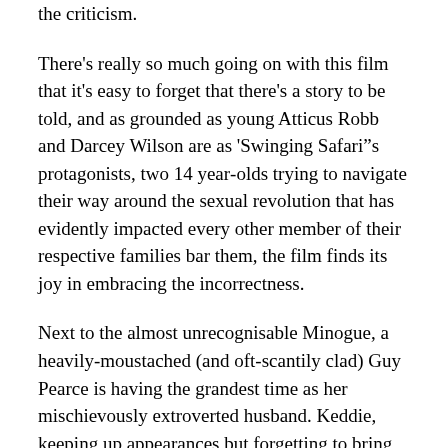the criticism.
There's really so much going on with this film that it's easy to forget that there's a story to be told, and as grounded as young Atticus Robb and Darcey Wilson are as 'Swinging Safari"s protagonists, two 14 year-olds trying to navigate their way around the sexual revolution that has evidently impacted every other member of their respective families bar them, the film finds its joy in embracing the incorrectness.
Next to the almost unrecognisable Minogue, a heavily-moustached (and oft-scantily clad) Guy Pearce is having the grandest time as her mischievously extroverted husband. Keddie, keeping up appearances but forgetting to bring her manners, is a joy to watch misbehave, as is the heavily mutton-chopped Jeremy Sims as her suffering husband, and